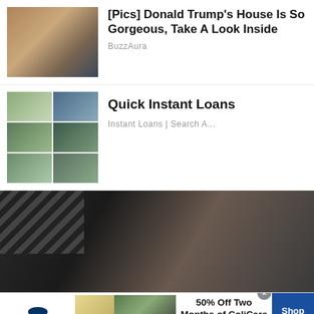[Figure (photo): Thumbnail of two people (man and woman) smiling, used as ad image]
[Pics] Donald Trump's House Is So Gorgeous, Take A Look Inside
BuzzAura
[Figure (photo): Grid of six house photos showing various suburban homes]
Quick Instant Loans
Instant Loans | Search A...
[Figure (photo): Large close-up photo of a woman with dark hair and sunglasses, partially cropped]
[Figure (photo): SmartPak banner ad: 50% Off Two Months of ColiCare, ColiCare Eligible Supplements CODE: COLICARE10, Shop Now button]